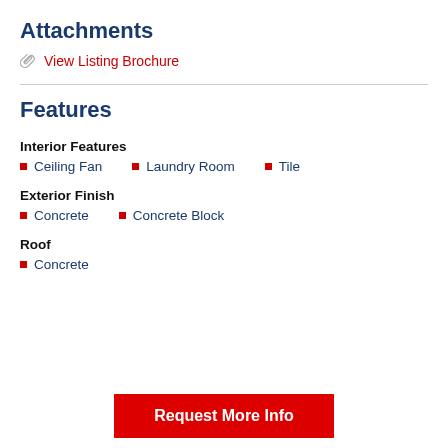Attachments
View Listing Brochure
Features
Interior Features
Ceiling Fan
Laundry Room
Tile
Exterior Finish
Concrete
Concrete Block
Roof
Concrete
Request More Info